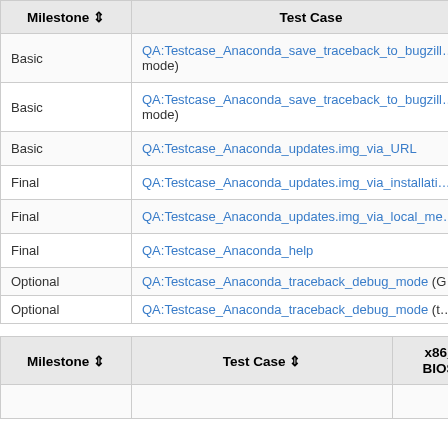| Milestone ⇕ | Test Case |
| --- | --- |
| Basic | QA:Testcase_Anaconda_save_traceback_to_bugzill… mode) |
| Basic | QA:Testcase_Anaconda_save_traceback_to_bugzill… mode) |
| Basic | QA:Testcase_Anaconda_updates.img_via_URL |
| Final | QA:Testcase_Anaconda_updates.img_via_installati… |
| Final | QA:Testcase_Anaconda_updates.img_via_local_me… |
| Final | QA:Testcase_Anaconda_help |
| Optional | QA:Testcase_Anaconda_traceback_debug_mode (G…) |
| Optional | QA:Testcase_Anaconda_traceback_debug_mode (t…) |
| Milestone ⇕ | Test Case ⇕ | x86_64 BIOS ⇕ |
| --- | --- | --- |